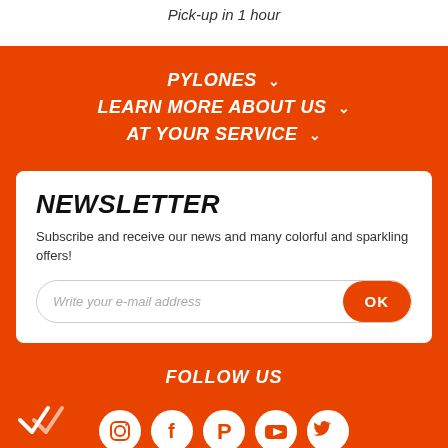Pick-up in 1 hour
PYLONES ∨
LEARN MORE ABOUT US ∨
AT YOUR SERVICE ∨
NEWSLETTER
Subscribe and receive our news and many colorful and sparkling offers!
Write your e-mail address
FOLLOW US
[Figure (illustration): Social media icons: Instagram, Facebook, Pinterest, YouTube, Twitter in white circle backgrounds]